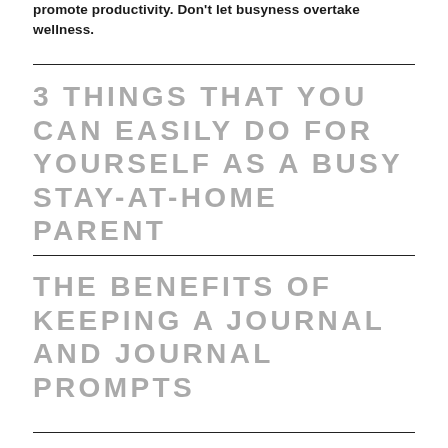promote productivity. Don't let busyness overtake wellness.
3 THINGS THAT YOU CAN EASILY DO FOR YOURSELF AS A BUSY STAY-AT-HOME PARENT
THE BENEFITS OF KEEPING A JOURNAL AND JOURNAL PROMPTS